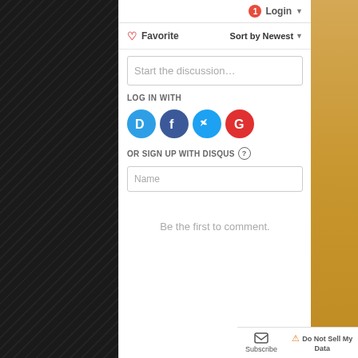[Figure (screenshot): Disqus comment widget interface showing login button with badge '1', Favorite and Sort by Newest controls, Start the discussion text input, LOG IN WITH social icons (Disqus, Facebook, Twitter, Google), OR SIGN UP WITH DISQUS section with Name field, 'Be the first to comment.' placeholder text, and footer with Subscribe, Do Not Sell My Data, and DISQUS branding. Background has dark diamond-plate texture on left and wood grain on right.]